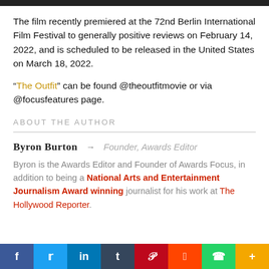[Figure (photo): Dark image bar at top of page]
The film recently premiered at the 72nd Berlin International Film Festival to generally positive reviews on February 14, 2022, and is scheduled to be released in the United States on March 18, 2022.
“The Outfit” can be found @theoutfitmovie or via @focusfeatures page.
ABOUT THE AUTHOR
Byron Burton → Founder, Awards Editor
Byron is the Awards Editor and Founder of Awards Focus, in addition to being a National Arts and Entertainment Journalism Award winning journalist for his work at The Hollywood Reporter.